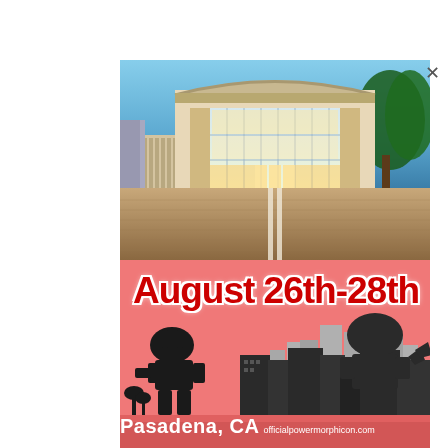[Figure (photo): Exterior photo of a modern convention center building at dusk/night with large glass facade, brick plaza in foreground, and trees on right side. Blue sky in background.]
[Figure (infographic): Event promotional banner with salmon/coral pink background. Large bold red text reads 'August 26th-28th' with white stroke outline. Below is a city skyline silhouette in dark gray/black with two large robot/monster silhouettes (one on left, one on right). Bottom bar shows 'Pasadena, CA' in large white bold text and 'officialpowermorphicon.com' in smaller white text.]